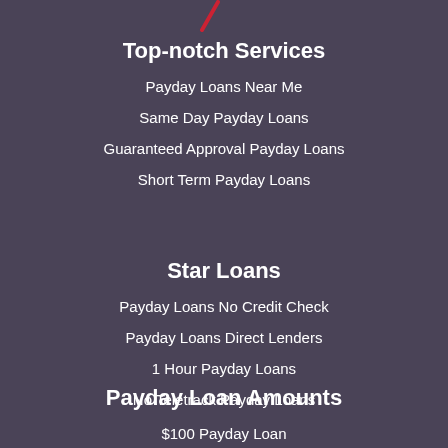[Figure (logo): Red lightning bolt / slash logo mark at top center]
Top-notch Services
Payday Loans Near Me
Same Day Payday Loans
Guaranteed Approval Payday Loans
Short Term Payday Loans
Star Loans
Payday Loans No Credit Check
Payday Loans Direct Lenders
1 Hour Payday Loans
No Teletrack Payday Loans
Payday Loan Amounts
$100 Payday Loan